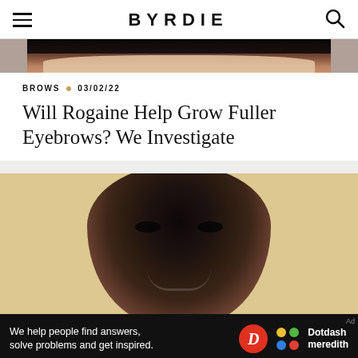BYRDIE
[Figure (photo): Top portion of a face with dark hair against a light background, cropped at the forehead/eye area]
BROWS • 03/02/22
Will Rogaine Help Grow Fuller Eyebrows? We Investigate
[Figure (photo): Close-up portrait of a young Black person with natural hair and visible eyebrows, against a beige/cream background, smiling slightly]
We help people find answers, solve problems and get inspired.
[Figure (logo): Dotdash Meredith logo — red circle with white D, colorful dots icon, and Dotdash meredith text in white]